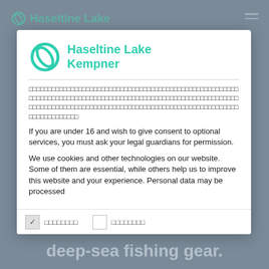[Figure (logo): Haseltine Lake Kempner logo with teal circular icon and teal bold text on white modal background]
[Redacted/garbled text — cookie consent description in non-Latin script or obfuscated characters]
If you are under 16 and wish to give consent to optional services, you must ask your legal guardians for permission.
We use cookies and other technologies on our website. Some of them are essential, while others help us to improve this website and your experience. Personal data may be processed
[Footer checkboxes with labels — Accepted / Declined]